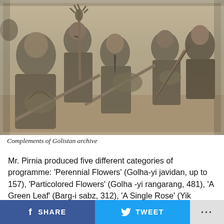[Figure (photo): Black and white photograph of a group of men seated and holding traditional Persian/Iranian string instruments (tar, setar), in formal attire, archival photo]
Complements of Golistan archive
Mr. Pirnia produced five different categories of programme: ‘Perennial Flowers’ (Golha-yi javidan, up to 157), ‘Particolored Flowers’ (Golha -yi rangarang, 481), ‘A Green Leaf’ (Barg-i sabz, 312), ‘A Single Rose’ (Yik shakh-i gol, 465), and ‘Desert Flowers’ (Golha-yi şaḥra’i, 64. Mr.
SHARE  TWEET  ...